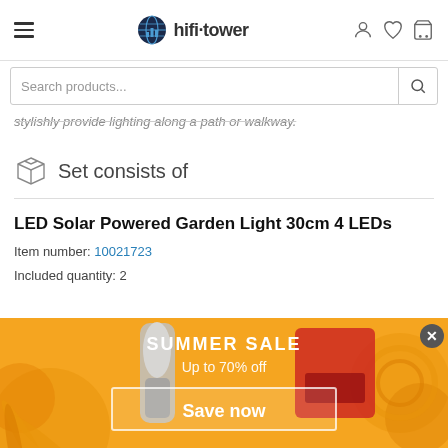hifi tower - navigation bar with hamburger menu, logo, user/wishlist/cart icons
Search products...
stylishly provide lighting along a path or walkway.
Set consists of
LED Solar Powered Garden Light 30cm 4 LEDs
Item number: 10021723
Included quantity: 2
[Figure (screenshot): Summer Sale promotional banner: yellow/orange background with palm leaf decorations, product images (microphone, coffee machine), text 'SUMMER SALE Up to 70% off Save now' with a close button]